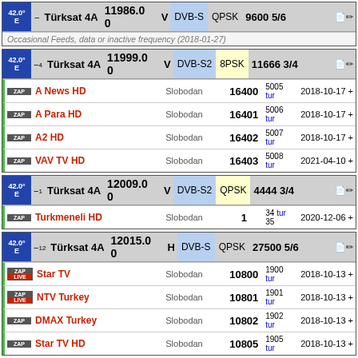| Sat | Name | Frequency | Pol | Standard | Modulation | SR FEC |  |
| --- | --- | --- | --- | --- | --- | --- | --- |
| 42.0°E | Türksat 4A | 11986.00 | V | DVB-S | QPSK | 9600 5/6 |  |
|  | Occasional Feeds, data or inactive frequency (2018-01-27) |  |  |  |  |  |  |
| Sat | Name | Frequency | Pol | Standard | Modulation | SR FEC |  |
| --- | --- | --- | --- | --- | --- | --- | --- |
| 42.0°E | Türksat 4A | 11999.00 | V | DVB-S2 | 8PSK | 11666 3/4 |  |
| ZAP | A News HD | Slobodan | 16400 | 5005 tur | 2018-10-17 + |  |  |
| ZAP | A Para HD | Slobodan | 16401 | 5006 tur | 2018-10-17 + |  |  |
| ZAP | A2 HD | Slobodan | 16402 | 5007 tur | 2018-10-17 + |  |  |
| ZAP | VAV TV HD | Slobodan | 16403 | 5008 tur | 2021-04-10 + |  |  |
| Sat | Name | Frequency | Pol | Standard | Modulation | SR FEC |  |
| --- | --- | --- | --- | --- | --- | --- | --- |
| 42.0°E | Türksat 4A | 12009.00 | V | DVB-S2 | QPSK | 4444 3/4 |  |
| ZAP | Turkmeneli HD | Slobodan | 1 | 34 tur 35 | 2020-12-06 + |  |  |
| Sat | Name | Frequency | Pol | Standard | Modulation | SR FEC |  |
| --- | --- | --- | --- | --- | --- | --- | --- |
| 42.0°E | Türksat 4A | 12015.00 | H | DVB-S | QPSK | 27500 5/6 |  |
| ZAP LIVE | Star TV | Slobodan | 10800 | 1900 tur | 2018-10-13 + |  |  |
| ZAP LIVE | NTV Turkey | Slobodan | 10801 | 1901 tur | 2018-10-13 + |  |  |
| ZAP | DMAX Turkey | Slobodan | 10802 | 1902 tur | 2018-10-13 + |  |  |
| ZAP | Star TV HD | Slobodan | 10805 | 1905 tur | 2018-10-13 + |  |  |